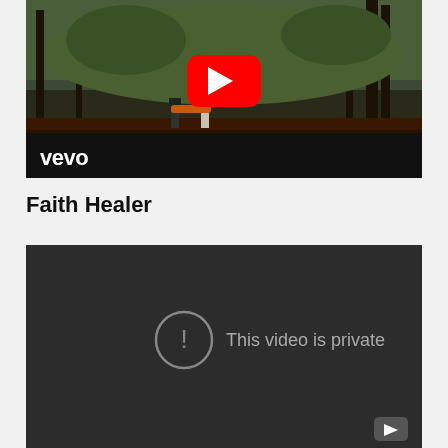[Figure (screenshot): YouTube/Vevo video thumbnail showing two people walking in a forest with a YouTube play button overlay and Vevo logo in the bottom left]
Faith Healer
[Figure (screenshot): YouTube video embed showing 'This video is private' error message with exclamation circle icon on dark background, YouTube logo in bottom right corner]